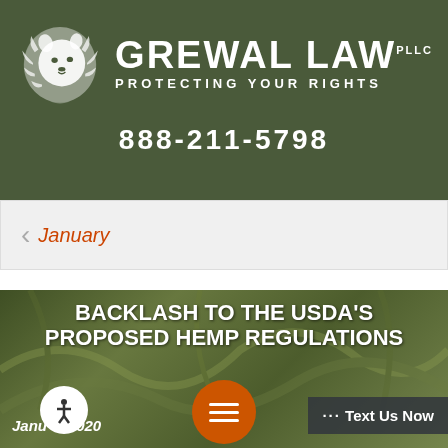[Figure (logo): Grewal Law PLLC logo with white lion head silhouette and firm name 'GREWAL LAW PLLC' with tagline 'PROTECTING YOUR RIGHTS']
888-211-5798
January
BACKLASH TO THE USDA'S PROPOSED HEMP REGULATIONS
January 2020